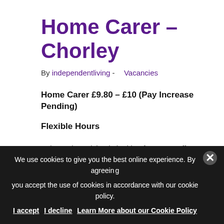Home Carer – Chorley
By independentliving -  Vacancies
Home Carer £9.80 – £10 (Pay Increase Pending)
Flexible Hours
Independent Living is looking for care staff to cover Chorley and the surrounding areas. This involves helping older people in their own home.  Previous experience is not essential as full training is given but an
We use cookies to give you the best online experience. By agreeing, you accept the use of cookies in accordance with our cookie policy. I accept  I decline  Learn More about our Cookie Policy